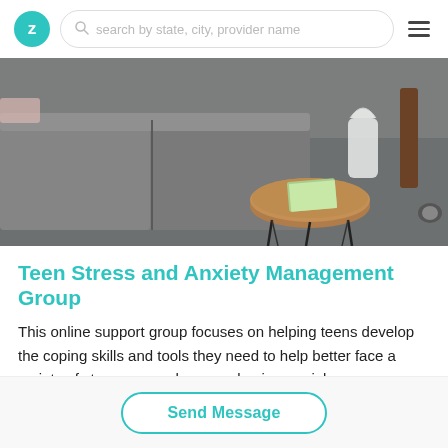Z | search by state, city, provider name | menu
[Figure (photo): Photo of a therapist's office interior showing a grey sofa/couch and a wooden slab side table with a book on it, on a grey carpet floor.]
Teen Stress and Anxiety Management Group
This online support group focuses on helping teens develop the coping skills and tools they need to help better face a variety of stressors, such as academics, social
Send Message